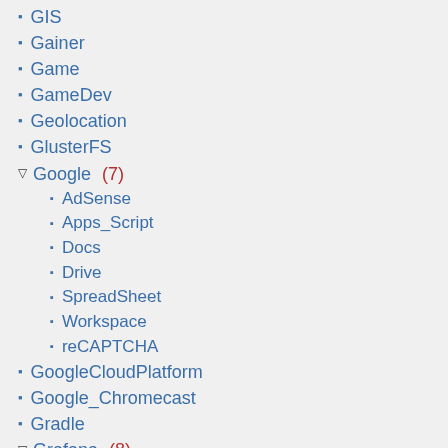GIS
Gainer
Game
GameDev
Geolocation
GlusterFS
Google (7)
AdSense
Apps_Script
Docs
Drive
SpreadSheet
Workspace
reCAPTCHA
GoogleCloudPlatform
Google_Chromecast
Gradle
Grafana (8)
API
Athena
CloudWatch
Loki
Troubleshooting
Zabbix